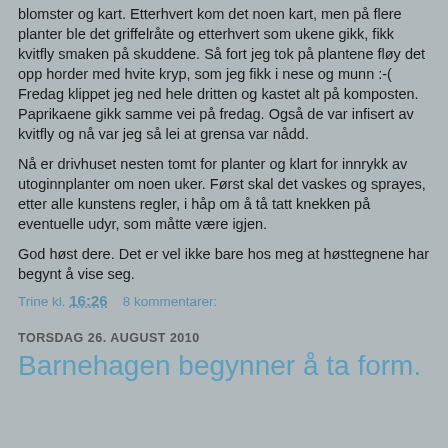blomster og kart. Etterhvert kom det noen kart, men på flere planter ble det griffelråte og etterhvert som ukene gikk, fikk kvitfly smaken på skuddene. Så fort jeg tok på plantene fløy det opp horder med hvite kryp, som jeg fikk i nese og munn :-( Fredag klippet jeg ned hele dritten og kastet alt på komposten.
Paprikaene gikk samme vei på fredag. Også de var infisert av kvitfly og nå var jeg så lei at grensa var nådd.
Nå er drivhuset nesten tomt for planter og klart for innrykk av utoginnplanter om noen uker. Først skal det vaskes og sprayes, etter alle kunstens regler, i håp om å tå tatt knekken på eventuelle udyr, som måtte være igjen.
God høst dere. Det er vel ikke bare hos meg at høsttegnene har begynt å vise seg.
Trine kl. 16:26    8 kommentarer:
TORSDAG 26. AUGUST 2010
Barnehagen begynner å ta form.